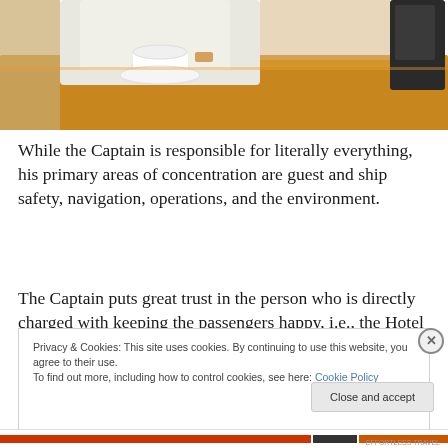[Figure (photo): A person in white uniform sitting at a wooden table with a white cup and saucer, with a chair visible in the background.]
While the Captain is responsible for literally everything, his primary areas of concentration are guest and ship safety, navigation, operations, and the environment.
The Captain puts great trust in the person who is directly charged with keeping the passengers happy, i.e., the Hotel
Privacy & Cookies: This site uses cookies. By continuing to use this website, you agree to their use.
To find out more, including how to control cookies, see here: Cookie Policy